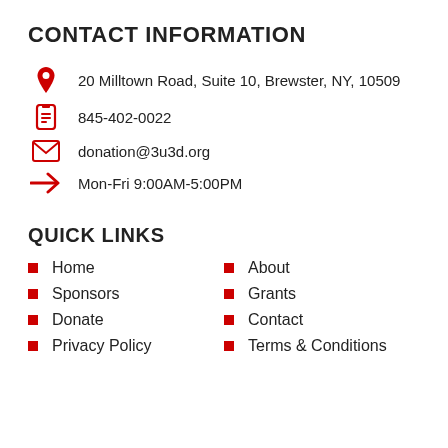CONTACT INFORMATION
20 Milltown Road, Suite 10, Brewster, NY, 10509
845-402-0022
donation@3u3d.org
Mon-Fri 9:00AM-5:00PM
QUICK LINKS
Home
About
Sponsors
Grants
Donate
Contact
Privacy Policy
Terms & Conditions